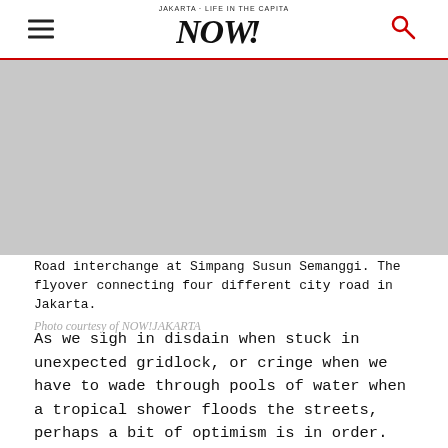JAKARTA NOW! [logo with hamburger menu and search icon]
[Figure (photo): Road interchange at Simpang Susun Semanggi, a flyover connecting four different city roads in Jakarta. Gray/placeholder image area.]
Road interchange at Simpang Susun Semanggi. The flyover connecting four different city road in Jakarta.
Photo courtesy of NOW!JAKARTA
As we sigh in disdain when stuck in unexpected gridlock, or cringe when we have to wade through pools of water when a tropical shower floods the streets, perhaps a bit of optimism is in order. The MRT is on track for completion (which might once...